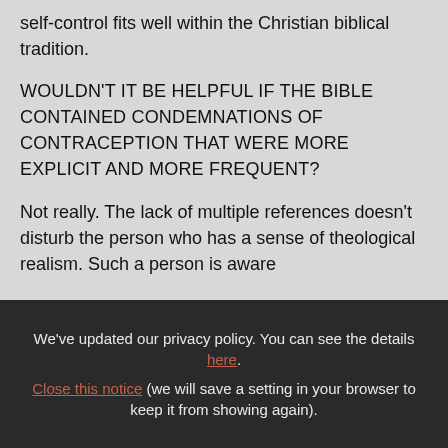self-control fits well within the Christian biblical tradition.
WOULDN'T IT BE HELPFUL IF THE BIBLE CONTAINED CONDEMNATIONS OF CONTRACEPTION THAT WERE MORE EXPLICIT AND MORE FREQUENT?
Not really. The lack of multiple references doesn't disturb the person who has a sense of theological realism. Such a person is aware
We've updated our privacy policy. You can see the details here. Close this notice (we will save a setting in your browser to keep it from showing again).